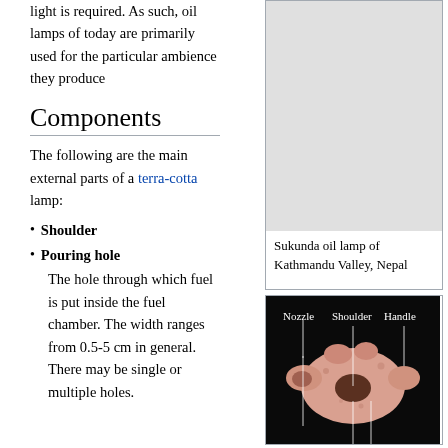light is required. As such, oil lamps of today are primarily used for the particular ambience they produce
Components
The following are the main external parts of a terra-cotta lamp:
Shoulder
Pouring hole
The hole through which fuel is put inside the fuel chamber. The width ranges from 0.5-5 cm in general. There may be single or multiple holes.
[Figure (photo): Top right: light gray/white image box (Sukunda oil lamp photo area, mostly empty/gray)]
Sukunda oil lamp of Kathmandu Valley, Nepal
[Figure (photo): Bottom right: Photo of a terra-cotta oil lamp on black background with labels: Nozzle, Shoulder, Handle, pointing to parts of the lamp]